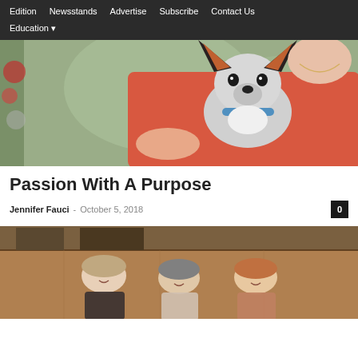Edition  Newsstands  Advertise  Subscribe  Contact Us  Education
[Figure (photo): A small Chihuahua dog with large ears, gray and white coloring, wearing a blue collar with a tag, held by a person in a red/coral top.]
Passion With A Purpose
Jennifer Fauci  -  October 5, 2018  0
[Figure (photo): Three women smiling and posing together indoors in what appears to be a wood-paneled room or lobby.]